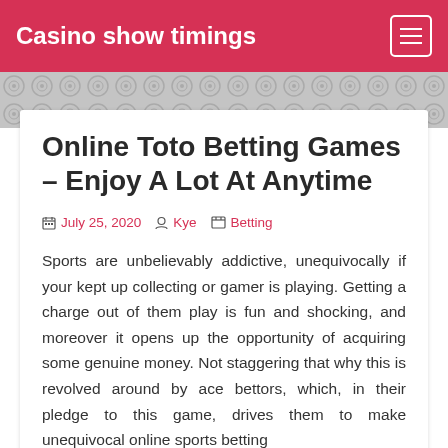Casino show timings
Online Toto Betting Games – Enjoy A Lot At Anytime
July 25, 2020  Kye  Betting
Sports are unbelievably addictive, unequivocally if your kept up collecting or gamer is playing. Getting a charge out of them play is fun and shocking, and moreover it opens up the opportunity of acquiring some genuine money. Not staggering that why this is revolved around by ace bettors, which, in their pledge to this game, drives them to make unequivocal online sports betting